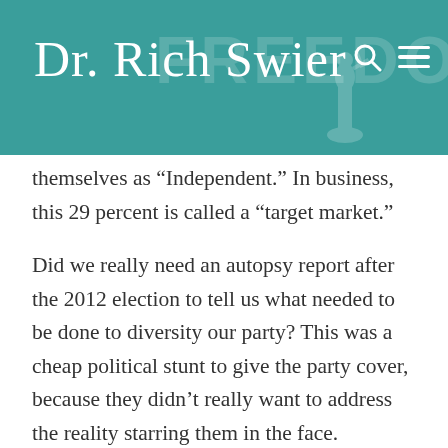Dr. Rich Swier
themselves as “Independent.” In business, this 29 percent is called a “target market.”
Did we really need an autopsy report after the 2012 election to tell us what needed to be done to diversity our party? This was a cheap political stunt to give the party cover, because they didn’t really want to address the reality starring them in the face.
In typical Republican fashion, they appointed two minorities, one Black and one Hispanic, as co-chairs (the other three being Whites) of the committee. The other four chairs White on the